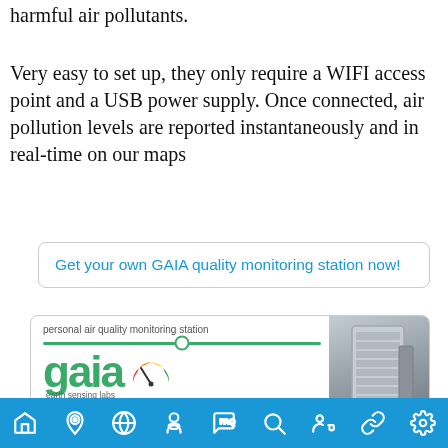harmful air pollutants.
Very easy to set up, they only require a WIFI access point and a USB power supply. Once connected, air pollution levels are reported instantaneously and in real-time on our maps
Get your own GAIA quality monitoring station now!
[Figure (logo): GAIA earth sensing labs banner with logo, tagline 'personal air quality monitoring station', green line with circle, large green 'gaia' wordmark, colorful gauge icon, 'earth sensing labs' subtitle, and photo of air quality monitoring device on building]
Navigation bar with home, location, globe, mask, FAQ, search, person, link, settings icons